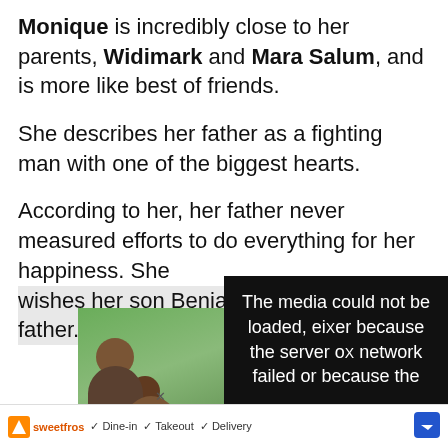Monique is incredibly close to her parents, Widimark and Mara Salum, and is more like best of friends.
She describes her father as a fighting man with one of the biggest hearts.
According to her, her father never measured efforts to do everything for her happiness. She wishes her son Benjamin to be 1/3 of her father.
[Figure (photo): Photo of two people outdoors with greenery in background, with adpushup label at bottom left]
The media could not be loaded, either because the server or network failed or because the
sweetfrog ✓ Dine-in ✓ Takeout ✓ Delivery